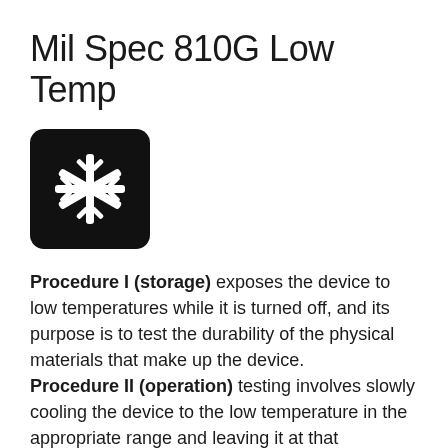Mil Spec 810G Low Temp
[Figure (illustration): White snowflake icon on a black rounded-square background]
Procedure I (storage) exposes the device to low temperatures while it is turned off, and its purpose is to test the durability of the physical materials that make up the device. Procedure II (operation) testing involves slowly cooling the device to the low temperature in the appropriate range and leaving it at that temperature for at least two hours, checking visually to see that it is still functioning during that time.